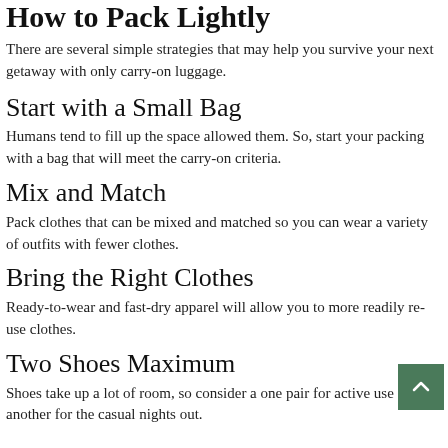How to Pack Lightly
There are several simple strategies that may help you survive your next getaway with only carry-on luggage.
Start with a Small Bag
Humans tend to fill up the space allowed them. So, start your packing with a bag that will meet the carry-on criteria.
Mix and Match
Pack clothes that can be mixed and matched so you can wear a variety of outfits with fewer clothes.
Bring the Right Clothes
Ready-to-wear and fast-dry apparel will allow you to more readily re-use clothes.
Two Shoes Maximum
Shoes take up a lot of room, so consider a one pair for active use and another for the casual nights out.